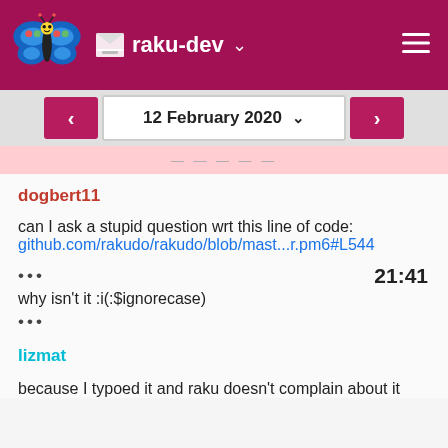raku-dev
12 February 2020
dogbert11
can I ask a stupid question wrt this line of code:
github.com/rakudo/rakudo/blob/mast...r.pm6#L544
21:41
why isn't it :i(:$ignorecase)
lizmat
because I typoed it and raku doesn't complain about it